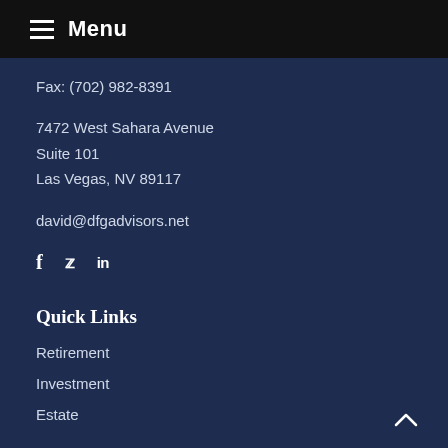Menu
Fax: (702) 982-8391
7472 West Sahara Avenue
Suite 101
Las Vegas, NV 89117
david@dfgadvisors.net
[Figure (other): Social media icons: Facebook (f), Twitter (bird icon), LinkedIn (in)]
Quick Links
Retirement
Investment
Estate